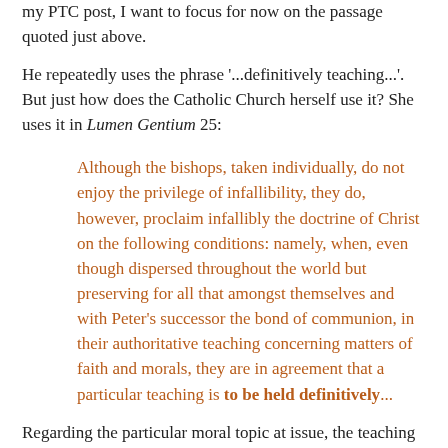my PTC post, I want to focus for now on the passage quoted just above.
He repeatedly uses the phrase '...definitively teaching...'. But just how does the Catholic Church herself use it? She uses it in Lumen Gentium 25:
Although the bishops, taken individually, do not enjoy the privilege of infallibility, they do, however, proclaim infallibly the doctrine of Christ on the following conditions: namely, when, even though dispersed throughout the world but preserving for all that amongst themselves and with Peter's successor the bond of communion, in their authoritative teaching concerning matters of faith and morals, they are in agreement that a particular teaching is to be held definitively...
Regarding the particular moral topic at issue, the teaching that one might argue was once presented as definitive